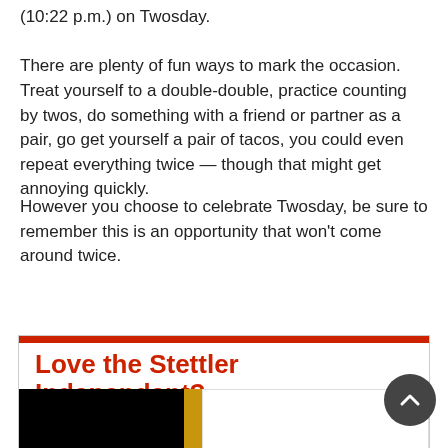(10:22 p.m.) on Twosday. There are plenty of fun ways to mark the occasion. Treat yourself to a double-double, practice counting by twos, do something with a friend or partner as a pair, go get yourself a pair of tacos, you could even repeat everything twice — though that might get annoying quickly.
However you choose to celebrate Twosday, be sure to remember this is an opportunity that won't come around twice.
[Figure (other): Advertisement box for the Stettler Independent with red top bar, bold red headline reading 'Love the Stettler Independent?' and a black/gold/white image strip at bottom. Includes a scroll-to-top button.]